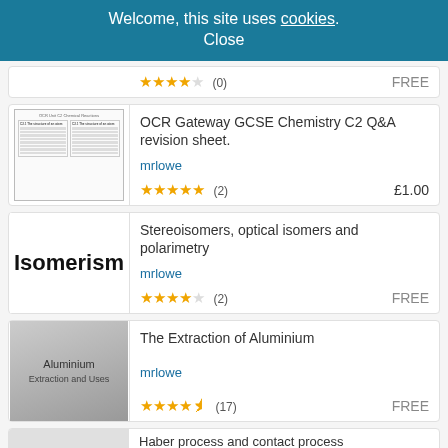Welcome, this site uses cookies. Close
★★★★☆ (0)  FREE
[Figure (screenshot): Preview thumbnail of OCR Gateway GCSE Chemistry C2 Q&A revision sheet showing a two-column table layout]
OCR Gateway GCSE Chemistry C2 Q&A revision sheet.
mrlowe
★★★★★ (2)  £1.00
[Figure (screenshot): Thumbnail showing bold text Isomerism on white background]
Stereoisomers, optical isomers and polarimetry
mrlowe
★★★★☆ (2)  FREE
[Figure (screenshot): Grey gradient thumbnail showing Aluminium Extraction and Uses text]
The Extraction of Aluminium
mrlowe
★★★★½ (17)  FREE
Haber process and contact process